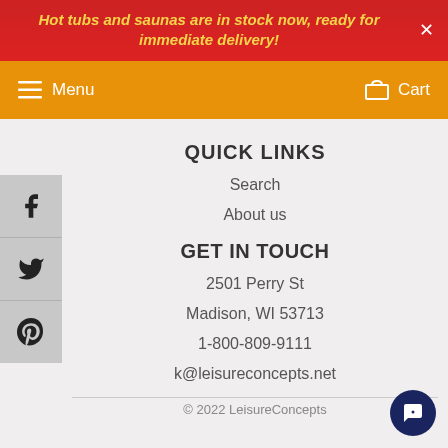Hot tubs and saunas are in stock now, ready for immediate delivery!
Menu   Cart
QUICK LINKS
Search
About us
GET IN TOUCH
2501 Perry St
Madison, WI 53713
1-800-809-9111
k@leisureconcepts.net
© 2022 LeisureConcepts